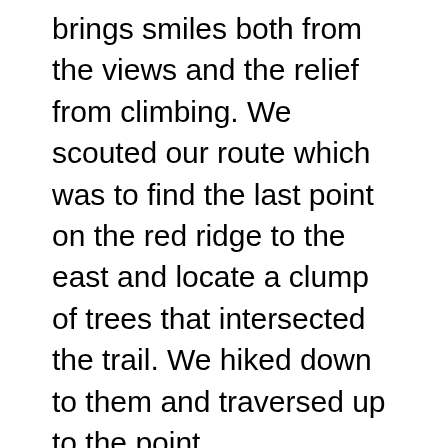brings smiles both from the views and the relief from climbing. We scouted our route which was to find the last point on the red ridge to the east and locate a clump of trees that intersected the trail. We hiked down to them and traversed up to the point.
From the point, we admired the views into either side all the way from the tunnel, up to Helen Lake, Ahern and Old Sun Glaciers and up towards Redgap Pass. The obvious goat trail led to a slope above cliffs right up to Redgap Pass. We followed a mountain goat most of the way and had lunch at Redgap Pass. Right as we started to descend, the large hanging Kennedy Lake is always a wonderful surprise for first time visitors, then you